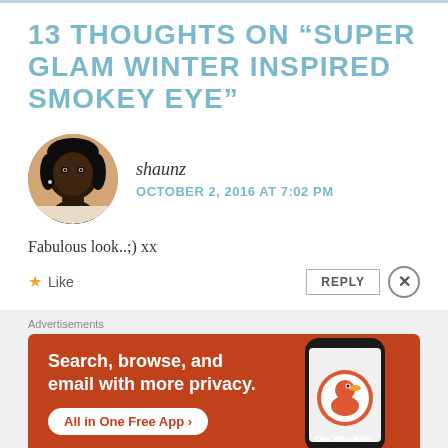13 THOUGHTS ON “SUPER GLAM WINTER INSPIRED SMOKEY EYE”
shaunz
OCTOBER 2, 2016 AT 7:02 PM
Fabulous look..;) xx
★ Like
REPLY
[Figure (other): DuckDuckGo advertisement banner: Search, browse, and email with more privacy. All in One Free App. Shows a phone with DuckDuckGo logo.]